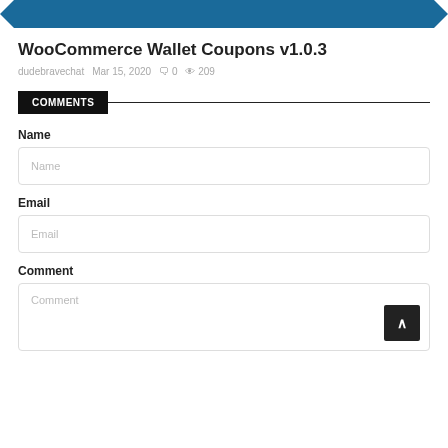[Figure (other): Blue decorative coupon-style banner at the top of the page with notched/chevron edges on left and right]
WooCommerce Wallet Coupons v1.0.3
dudebravechat   Mar 15, 2020   0   209
COMMENTS
Name
Name (input placeholder)
Email
Email (input placeholder)
Comment
Comment (textarea placeholder)